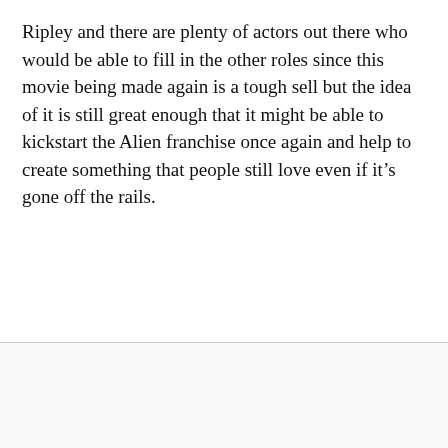Ripley and there are plenty of actors out there who would be able to fill in the other roles since this movie being made again is a tough sell but the idea of it is still great enough that it might be able to kickstart the Alien franchise once again and help to create something that people still love even if it's gone off the rails.
[Figure (other): Advertisement area with a close (X) button in the upper right corner]